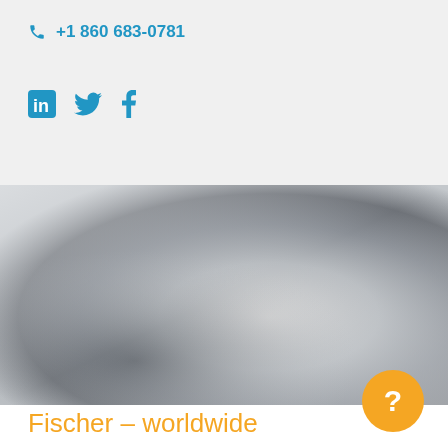+1 860 683-0781
[Figure (infographic): Social media icons: LinkedIn (in), Twitter bird, Facebook (f) in blue]
[Figure (photo): Blurred metallic/grey gradient background image, possibly a product photo]
Fischer – worldwide
[Figure (other): Orange circle button with white question mark]